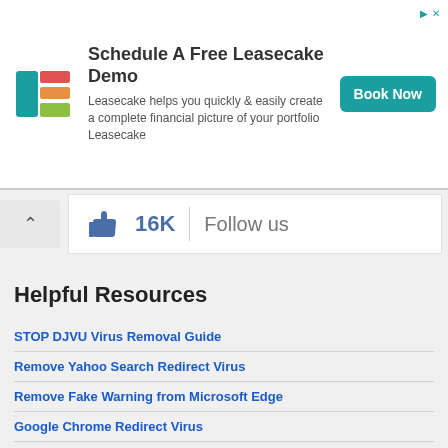[Figure (other): Leasecake advertisement banner with logo, title 'Schedule A Free Leasecake Demo', description text, and 'Book Now' button]
[Figure (other): Facebook social widget showing thumbs up icon, 16K likes count, vertical divider, and 'Follow us' text]
Helpful Resources
STOP DJVU Virus Removal Guide
Remove Yahoo Search Redirect Virus
Remove Fake Warning from Microsoft Edge
Google Chrome Redirect Virus
How to reset Google Chrome
Ways to remove virus from Mac